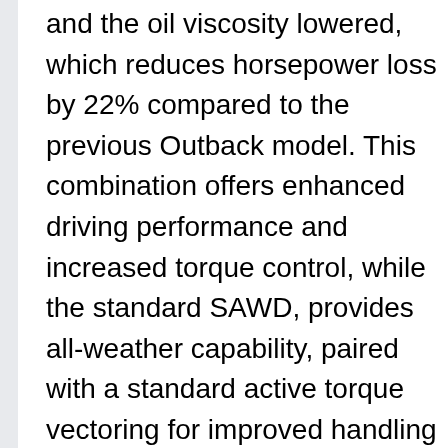and the oil viscosity lowered, which reduces horsepower loss by 22% compared to the previous Outback model. This combination offers enhanced driving performance and increased torque control, while the standard SAWD, provides all-weather capability, paired with a standard active torque vectoring for improved handling and cornering performance.
Handling performance and ride comfort have been increased with significant improvements made to the suspension and chassis, removing vibrations from the steering system, floor, and seats. The newly refined SAWD and SGP have improved the absorption performance on uneven road surfaces for you to enjoy new